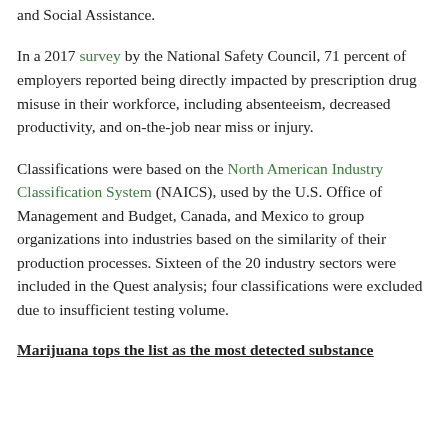and Social Assistance.
In a 2017 survey by the National Safety Council, 71 percent of employers reported being directly impacted by prescription drug misuse in their workforce, including absenteeism, decreased productivity, and on-the-job near miss or injury.
Classifications were based on the North American Industry Classification System (NAICS), used by the U.S. Office of Management and Budget, Canada, and Mexico to group organizations into industries based on the similarity of their production processes. Sixteen of the 20 industry sectors were included in the Quest analysis; four classifications were excluded due to insufficient testing volume.
Marijuana tops the list as the most detected substance